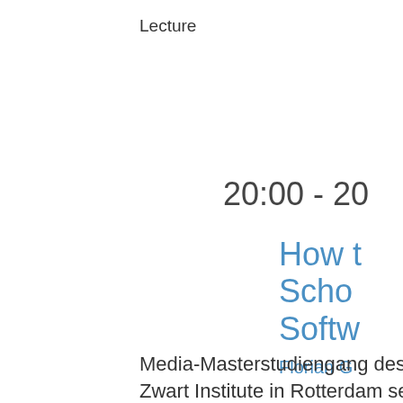Lecture
20:00 - 20
How t Scho Softw
Florian G
Freie So stets wi Designe Popular Webtec
Media-Masterstudiengang des Piet Zwart Institute in Rotterdam setzt bere durchgängig auf Freie Software, sowoh